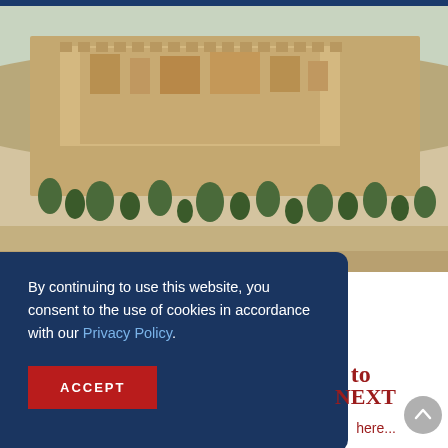[Figure (photo): Aerial photograph of an ancient walled city, likely Jerusalem, showing stone walls, old city architecture, and surrounding landscape with trees and roads.]
[Figure (photo): Circular avatar portrait of a middle-aged man with gray hair wearing a checkered shirt, displayed as a circular headshot.]
Dear Church: We Have Much to Rebuild
By continuing to use this website, you consent to the use of cookies in accordance with our Privacy Policy.
ACCEPT
NEXT
here...